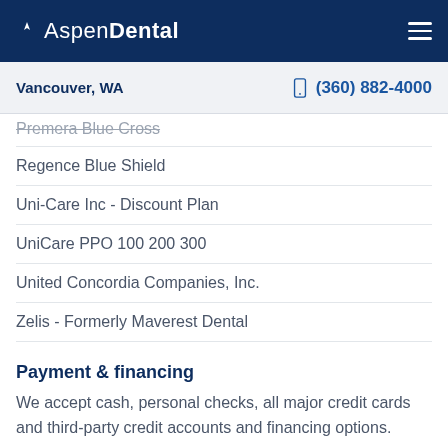Aspen Dental — Vancouver, WA — (360) 882-4000
Premera Blue Cross
Regence Blue Shield
Uni-Care Inc - Discount Plan
UniCare PPO 100 200 300
United Concordia Companies, Inc.
Zelis - Formerly Maverest Dental
Payment & financing
We accept cash, personal checks, all major credit cards and third-party credit accounts and financing options.